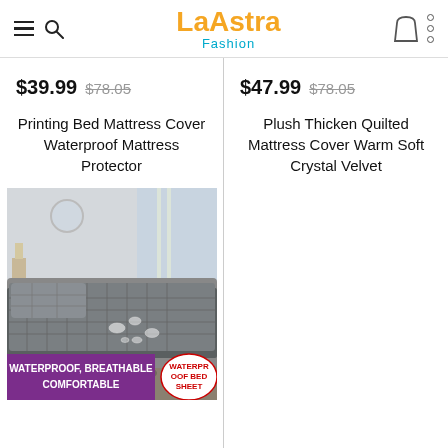La Astra Fashion
$39.99  $78.05
Printing Bed Mattress Cover Waterproof Mattress Protector
$47.99  $78.05
Plush Thicken Quilted Mattress Cover Warm Soft Crystal Velvet
[Figure (photo): Gray quilted waterproof mattress protector on a bed with water droplets visible, in a bedroom setting. Bottom banner reads WATERPROOF, BREATHABLE COMFORTABLE in purple, with a red circular badge reading WATERPROOF BED SHEET.]